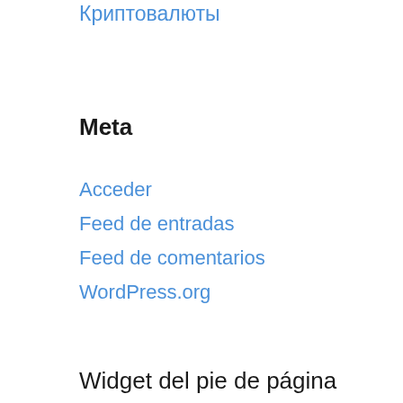Криптовалюты
Meta
Acceder
Feed de entradas
Feed de comentarios
WordPress.org
Widget del pie de página